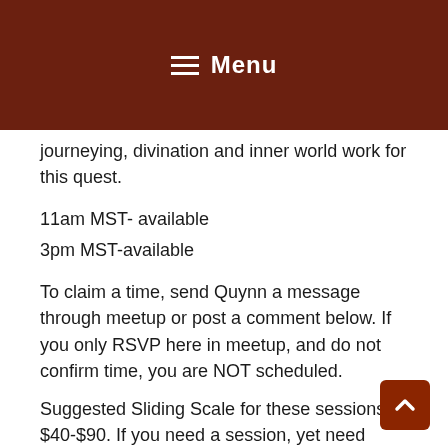≡ Menu
journeying, divination and inner world work for this quest.
11am MST- available
3pm MST-available
To claim a time, send Quynn a message through meetup or post a comment below. If you only RSVP here in meetup, and do not confirm time, you are NOT scheduled.
Suggested Sliding Scale for these sessions is $40-$90. If you need a session, yet need another arrangement, email Quynn.
Donations can be made by venmo
@earthwebmedia